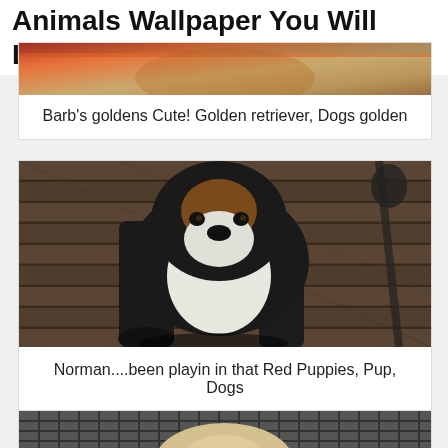Animals Wallpaper You Will Love
[Figure (photo): Partial view of a golden retriever dog photo - warm red and golden tones]
Barb's goldens Cute! Golden retriever, Dogs golden
[Figure (photo): Black and white dog (Boston Terrier or similar breed) sitting on a wooden deck/floor, looking up at the camera]
Norman....been playin in that Red Puppies, Pup, Dogs
[Figure (photo): Partial view of a light-colored dog (possibly beagle or similar) in front of a dark grid/fence background]